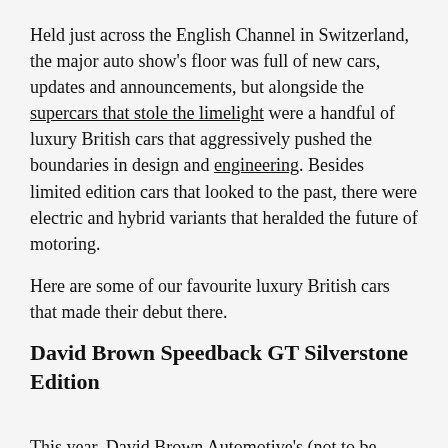Held just across the English Channel in Switzerland, the major auto show's floor was full of new cars, updates and announcements, but alongside the supercars that stole the limelight were a handful of luxury British cars that aggressively pushed the boundaries in design and engineering. Besides limited edition cars that looked to the past, there were electric and hybrid variants that heralded the future of motoring.
Here are some of our favourite luxury British cars that made their debut there.
David Brown Speedback GT Silverstone Edition
This year, David Brown Automotive's (not to be confused with the other David Brown from Aston Martin) latest "old" car is based on a Jaguar XKR platform. The bespoke Sixties pastiche houses a 5.0-litre supercharged V8 with 601 wild horses and 766Nm of torque. While the performance isn't as